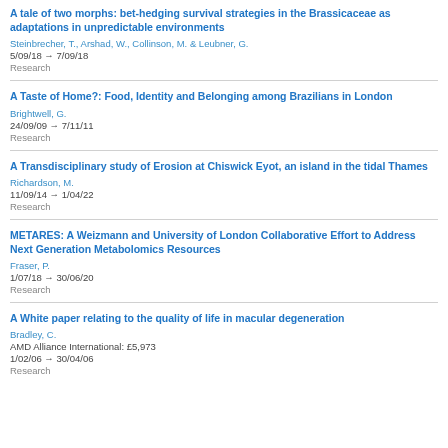A tale of two morphs: bet-hedging survival strategies in the Brassicaceae as adaptations in unpredictable environments
Steinbrecher, T., Arshad, W., Collinson, M. & Leubner, G.
5/09/18 → 7/09/18
Research
A Taste of Home?: Food, Identity and Belonging among Brazilians in London
Brightwell, G.
24/09/09 → 7/11/11
Research
A Transdisciplinary study of Erosion at Chiswick Eyot, an island in the tidal Thames
Richardson, M.
11/09/14 → 1/04/22
Research
METARES: A Weizmann and University of London Collaborative Effort to Address Next Generation Metabolomics Resources
Fraser, P.
1/07/18 → 30/06/20
Research
A White paper relating to the quality of life in macular degeneration
Bradley, C.
AMD Alliance International: £5,973
1/02/06 → 30/04/06
Research